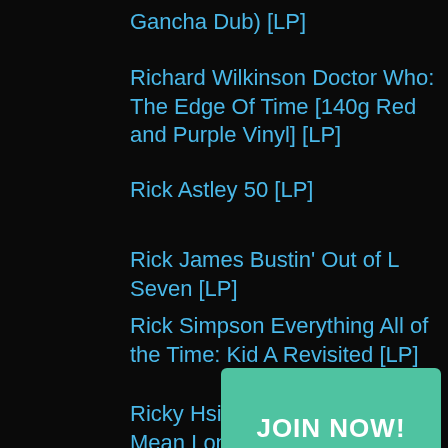Gancha Dub) [LP]
Richard Wilkinson Doctor Who: The Edge Of Time [140g Red and Purple Vinyl] [LP]
Rick Astley 50 [LP]
Rick James Bustin' Out of L Seven [LP]
Rick Simpson Everything All of the Time: Kid A Revisited [LP]
Ricky Hsiao Alone Doesn't Mean Lonely [LP]
How Does SoLoyal Work?
If you are looking for info about earning … already know … of your My Be… Best Buy members lose their rewards…